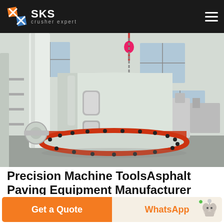[Figure (logo): SKS Crusher Expert logo with geometric orange/blue diamond icon and white text on dark background, hamburger menu icon at right]
[Figure (photo): Industrial crusher machine in a factory setting — large white/grey cone crusher base with red rim ring, overhead chain hoist, large factory windows in background]
Precision Machine ToolsAsphalt Paving Equipment Manufacturer Roadtec
Company Profile Precision Machine Tool is a leading